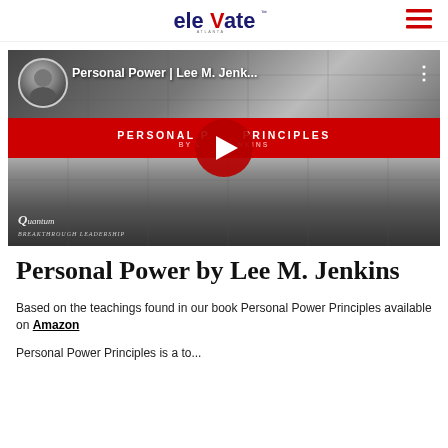elevate
[Figure (screenshot): YouTube video thumbnail for 'Personal Power | Lee M. Jenk...' showing a black and white cityscape with skyscrapers, a red banner reading 'PERSONAL POWER PRINCIPLES BY LEE JENKINS', a circular avatar of a man in a suit, a red play button in the center, and a Quantum logo in the bottom left.]
Personal Power by Lee M. Jenkins
Based on the teachings found in our book Personal Power Principles available on Amazon
Personal Power Principles is a to...